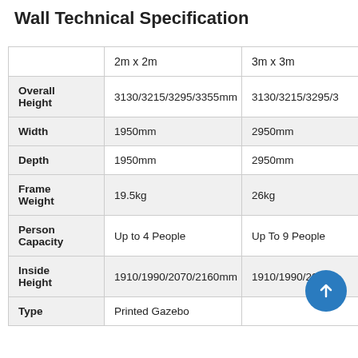Wall Technical Specification
|  | 2m x 2m | 3m x 3m |
| --- | --- | --- |
| Overall Height | 3130/3215/3295/3355mm | 3130/3215/3295/3… |
| Width | 1950mm | 2950mm |
| Depth | 1950mm | 2950mm |
| Frame Weight | 19.5kg | 26kg |
| Person Capacity | Up to 4 People | Up To 9 People |
| Inside Height | 1910/1990/2070/2160mm | 1910/1990/2070/2… |
| Type | Printed Gazebo |  |